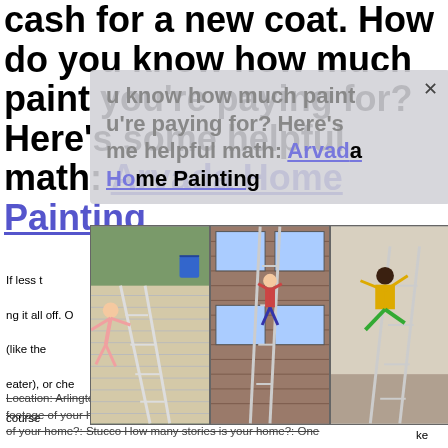cash for a new coat. How do you know how much paint you're paying for? Here's some helpful math: Arvada Home Painting
[Figure (photo): Three photos side by side showing people falling off ladders while painting or working on buildings]
If less than ... ming it all off. Others (like the ... heater), or che... a course... ke the shock ... edford, Massa... under Peel Bond, a thick primer. Arvada Home Painting
Location: Arlington, TX Date: 02/26/2021 What is the approximate living square footage of your home?: 3000-4500 sqft What is the primary exterior surface material of your home?: Stucco How many stories is your home?: One